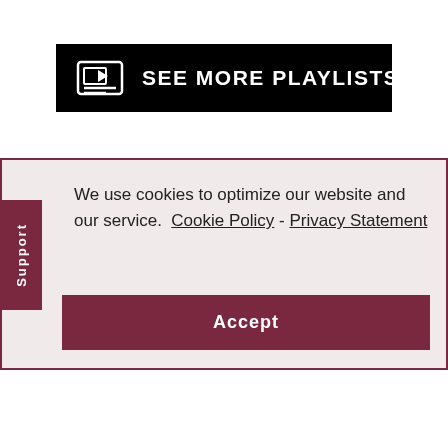[Figure (screenshot): Black button with playlist icon and text 'SEE MORE PLAYLISTS']
We use cookies to optimize our website and our service.  Cookie Policy - Privacy Statement
Accept